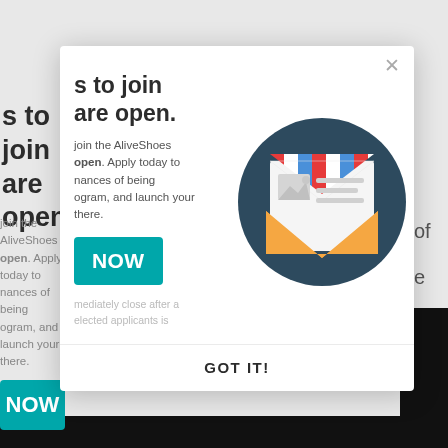[Figure (screenshot): Modal dialog popup on a webpage for AliveShoes designer program with an envelope illustration, title text 's to join are open.', body text about joining AliveShoes program, a teal APPLY NOW button, footnote text, and a GOT IT! footer button. A close X button appears top right.]
s to join are open.
join the AliveShoes open. Apply today to nances of being ogram, and launch your there.
NOW
mediately close after a elected applicants is
GOT IT!